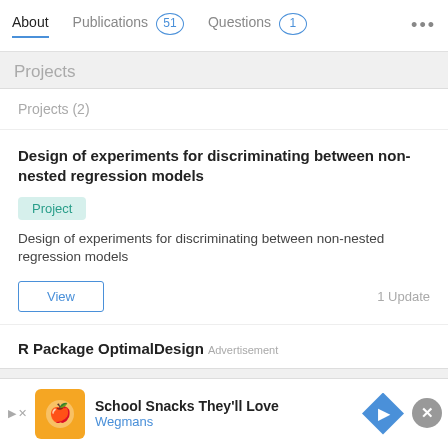About | Publications 51 | Questions 1 | ...
Projects
Projects (2)
Design of experiments for discriminating between non-nested regression models
Project
Design of experiments for discriminating between non-nested regression models
View   1 Update
R Package OptimalDesign
Advertisement  School Snacks They'll Love  Wegmans